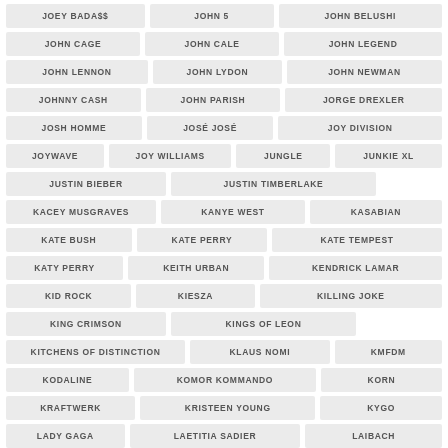JOEY BADA$$
JOHN 5
JOHN BELUSHI
JOHN CAGE
JOHN CALE
JOHN LEGEND
JOHN LENNON
JOHN LYDON
JOHN NEWMAN
JOHNNY CASH
JOHN PARISH
JORGE DREXLER
JOSH HOMME
JOSÉ JOSÉ
JOY DIVISION
JOYWAVE
JOY WILLIAMS
JUNGLE
JUNKIE XL
JUSTIN BIEBER
JUSTIN TIMBERLAKE
KACEY MUSGRAVES
KANYE WEST
KASABIAN
KATE BUSH
KATE PERRY
KATE TEMPEST
KATY PERRY
KEITH URBAN
KENDRICK LAMAR
KID ROCK
KIESZA
KILLING JOKE
KING CRIMSON
KINGS OF LEON
KITCHENS OF DISTINCTION
KLAUS NOMI
KMFDM
KODALINE
KOMOR KOMMANDO
KORN
KRAFTWERK
KRISTEEN YOUNG
KYGO
LADY GAGA
LAETITIA SADIER
LAIBACH